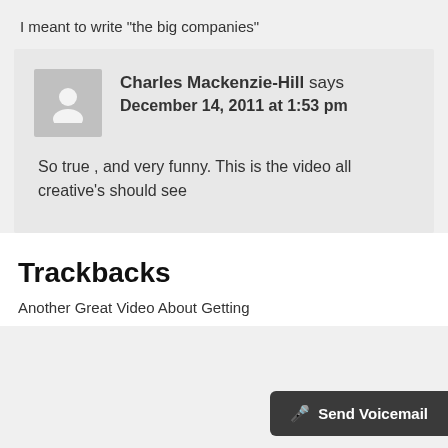I meant to write "the big companies"
Charles Mackenzie-Hill says December 14, 2011 at 1:53 pm
So true , and very funny. This is the video all creative's should see
Trackbacks
Another Great Video About Getting
Send Voicemail